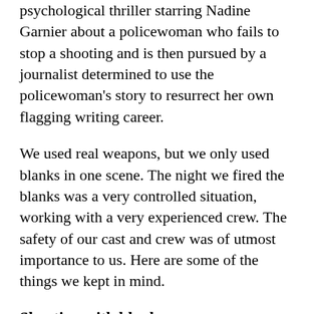psychological thriller starring Nadine Garnier about a policewoman who fails to stop a shooting and is then pursued by a journalist determined to use the policewoman's story to resurrect her own flagging writing career.
We used real weapons, but we only used blanks in one scene. The night we fired the blanks was a very controlled situation, working with a very experienced crew. The safety of our cast and crew was of utmost importance to us. Here are some of the things we kept in mind.
Shooting with blanks
When the worst thing happens and someone dies on set, the impact resonates profoundly throughout the industry and the lives of those affected. Two big stories in the 1980s, in particular, changed how